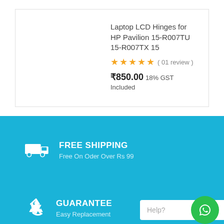Laptop LCD Hinges for HP Pavilion 15-R007TU 15-R007TX 15
( 01 review )
₹850.00 18% GST Included
FREE SHIPPING
Free On Oder Over Rs 99
GUARANTEE
Easy Replacement
Help?